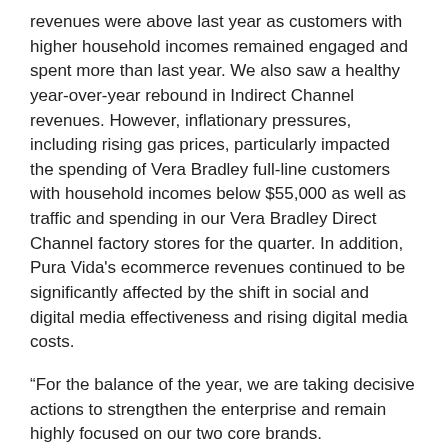revenues were above last year as customers with higher household incomes remained engaged and spent more than last year. We also saw a healthy year-over-year rebound in Indirect Channel revenues. However, inflationary pressures, including rising gas prices, particularly impacted the spending of Vera Bradley full-line customers with household incomes below $55,000 as well as traffic and spending in our Vera Bradley Direct Channel factory stores for the quarter. In addition, Pura Vida's ecommerce revenues continued to be significantly affected by the shift in social and digital media effectiveness and rising digital media costs.
“For the balance of the year, we are taking decisive actions to strengthen the enterprise and remain highly focused on our two core brands.
On a Company-wide basis, we are:
Meaningfully reducing our cost structure, targeting annual savings of $15 to $25 million.